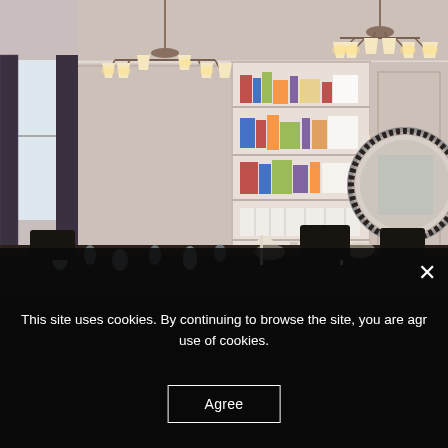[Figure (photo): Interior photo of an elegant dining room with two chandeliers, built-in white bookshelves, dark curtains, a round ornate mirror on a cream/pink wall, a wooden sideboard with a black table lamp, and a long dining table set with glassware and candles. Dark chairs surround the table.]
× (close button)
This site uses cookies. By continuing to browse the site, you are agreeing to our use of cookies.
Agree